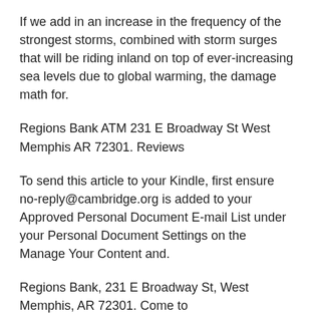If we add in an increase in the frequency of the strongest storms, combined with storm surges that will be riding inland on top of ever-increasing sea levels due to global warming, the damage math for.
Regions Bank ATM 231 E Broadway St West Memphis AR 72301. Reviews
To send this article to your Kindle, first ensure no-reply@cambridge.org is added to your Approved Personal Document E-mail List under your Personal Document Settings on the Manage Your Content and.
Regions Bank, 231 E Broadway St, West Memphis, AR 72301. Come to BANKS.CMAC.WS to get Regions Bank information, directions and ratings. Browse